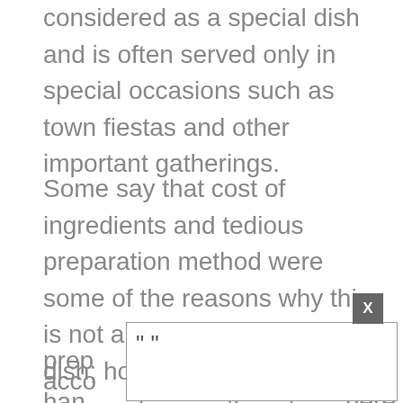considered as a special dish and is often served only in special occasions such as town fiestas and other important gatherings.
Some say that cost of ingredients and tedious preparation method were some of the reasons why this is not a common everyday dish; however, I believe that we can do something to ease the prep
acco
han here